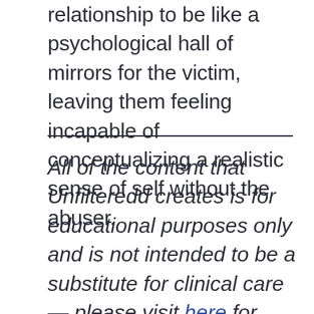relationship to be like a psychological hall of mirrors for the victim, leaving them feeling incapable of conceptualizing a realistic sense of self without the abuser.
All of the content that Unfilteredd creates is for educational purposes only and is not intended to be a substitute for clinical care — please visit here for qualified organizations and here for qualified professionals that you can reach out to for help. This article h...